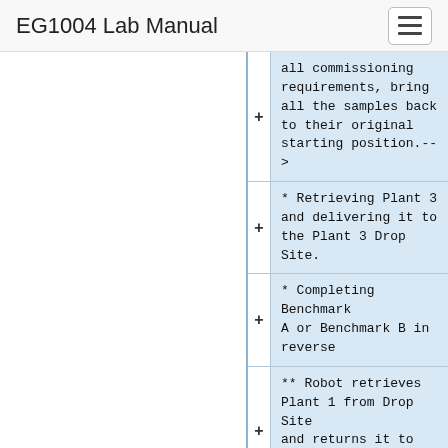EG1004 Lab Manual
all commissioning requirements, bring all the samples back to their original starting position.-->
* Retrieving Plant 3 and delivering it to the Plant 3 Drop Site.
* Completing Benchmark A or Benchmark B in reverse
** Robot retrieves Plant 1 from Drop Site and returns it to its original position
** Robot retrieves Plant 2 from Drop Site and returns it to its original position